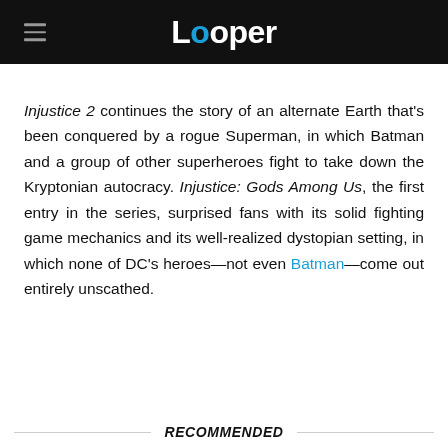Looper
Injustice 2 continues the story of an alternate Earth that's been conquered by a rogue Superman, in which Batman and a group of other superheroes fight to take down the Kryptonian autocracy. Injustice: Gods Among Us, the first entry in the series, surprised fans with its solid fighting game mechanics and its well-realized dystopian setting, in which none of DC's heroes—not even Batman—come out entirely unscathed.
RECOMMENDED